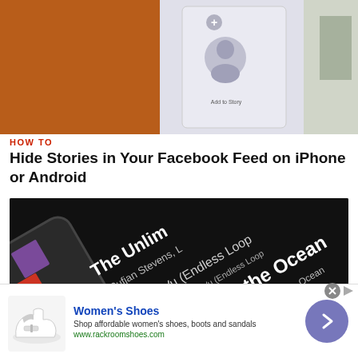[Figure (screenshot): Top image: screenshot of a smartphone screen showing Facebook Stories interface with a contact silhouette and 'Add to Story' button, against a warm brown/orange background]
HOW TO
Hide Stories in Your Facebook Feed on iPhone or Android
[Figure (photo): Photo of a smartphone held in a hand displaying a music streaming app (likely iTunes/Apple Music) with songs listed: 'The Unlim...' by Sufjan Stevens, 'Deja Vu (Endless Loop)' by Caby, 'Drive to the Ocean' by Michael Stipe, 'Ellie' by Nico Casal, and other partially visible tracks]
[Figure (photo): Advertisement for Women's Shoes from rackroomshoes.com showing a white sandal/shoe, text 'Women's Shoes', 'Shop affordable women's shoes, boots and sandals', 'www.rackroomshoes.com', and a purple circular arrow button]